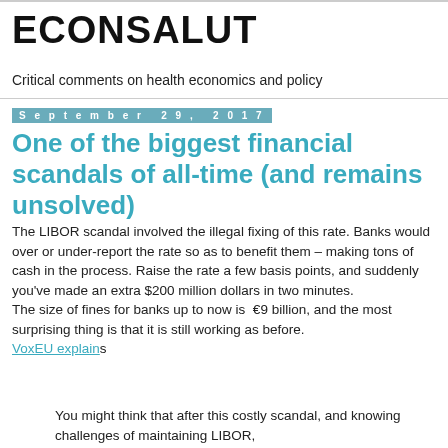ECONSALUT
Critical comments on health economics and policy
September 29, 2017
One of the biggest financial scandals of all-time (and remains unsolved)
The LIBOR scandal involved the illegal fixing of this rate. Banks would over or under-report the rate so as to benefit them – making tons of cash in the process. Raise the rate a few basis points, and suddenly you've made an extra $200 million dollars in two minutes.
The size of fines for banks up to now is €9 billion, and the most surprising thing is that it is still working as before. VoxEU explains
You might think that after this costly scandal, and knowing challenges of maintaining LIBOR,